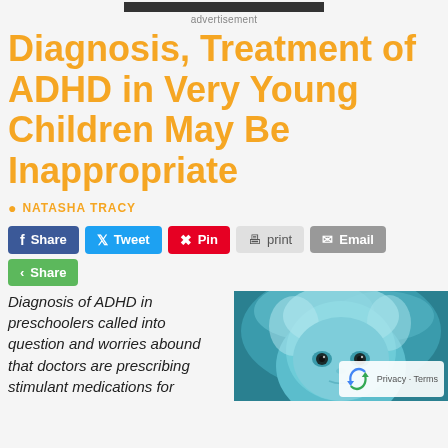[Figure (other): Dark advertisement banner bar]
advertisement
Diagnosis, Treatment of ADHD in Very Young Children May Be Inappropriate
NATASHA TRACY
Share  Tweet  Pin  print  Email  Share
Diagnosis of ADHD in preschoolers called into question and worries abound that doctors are prescribing stimulant medications for
[Figure (photo): Close-up blue-toned photo of a young child's face]